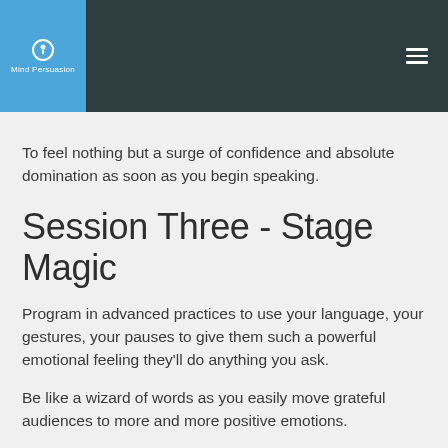Mind Persuasion
To feel nothing but a surge of confidence and absolute domination as soon as you begin speaking.
Session Three - Stage Magic
Program in advanced practices to use your language, your gestures, your pauses to give them such a powerful emotional feeling they'll do anything you ask.
Be like a wizard of words as you easily move grateful audiences to more and more positive emotions.